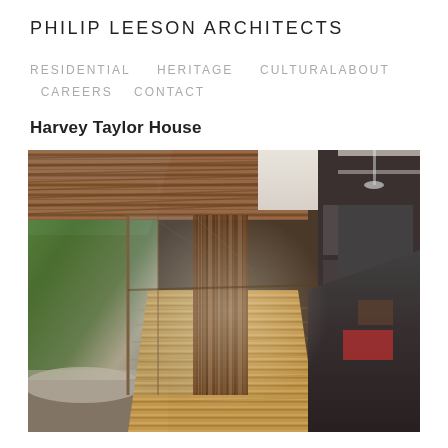PHILIP LEESON ARCHITECTS
RESIDENTIAL    HERITAGE    CULTURALABOUT
    CAREERS    CONTACT
Harvey Taylor House
[Figure (photo): Interior/exterior view of Harvey Taylor House showing wooden ceiling slats, timber decking floor, glass walls opening to a garden courtyard on the left, and modern kitchen/living area on the right with dark flooring and furniture.]